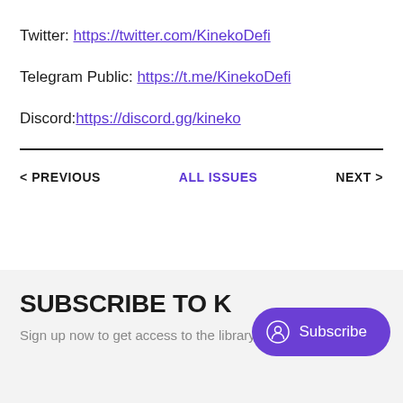Twitter: https://twitter.com/KinekoDefi
Telegram Public: https://t.me/KinekoDefi
Discord: https://discord.gg/kineko
< PREVIOUS   ALL ISSUES   NEXT >
SUBSCRIBE TO K
Sign up now to get access to the library of